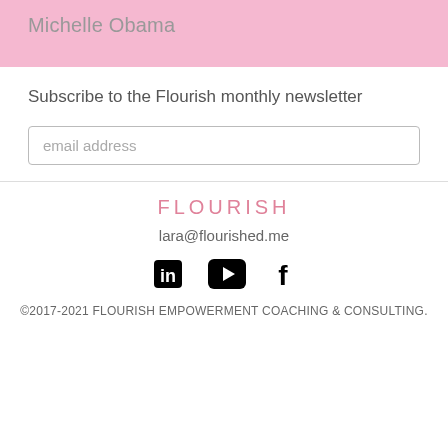Michelle Obama
Subscribe to the Flourish monthly newsletter
email address
FLOURISH
lara@flourished.me
[Figure (illustration): Social media icons: LinkedIn, YouTube, Facebook]
©2017-2021 FLOURISH EMPOWERMENT COACHING & CONSULTING.